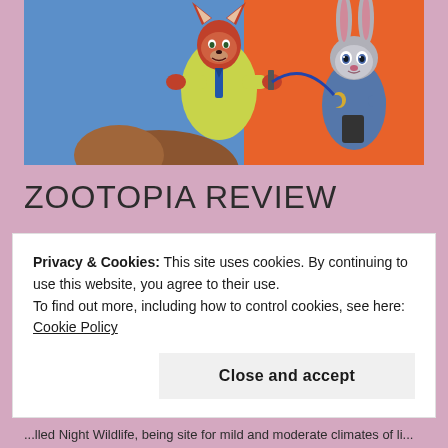[Figure (illustration): Movie still/poster image from Zootopia showing animated fox character Nick Wilde in yellow shirt with red fur, and bunny character Judy Hopps in police uniform, against blue and orange background. A third character's hair/head is partially visible at bottom.]
ZOOTOPIA REVIEW
Zootopia tells the story of a young bunny who wants to become the first rabbit cop in the history, in a world where anthropomorphic animals are split into two categories,
Privacy & Cookies: This site uses cookies. By continuing to use this website, you agree to their use.
To find out more, including how to control cookies, see here: Cookie Policy

Close and accept
...lled Night Wildlife, being site for mild and moderate climates...